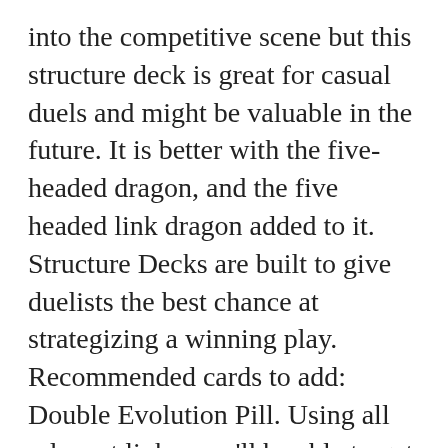into the competitive scene but this structure deck is great for casual duels and might be valuable in the future. It is better with the five-headed dragon, and the five headed link dragon added to it. Structure Decks are built to give duelists the best chance at strategizing a winning play. Recommended cards to add: Double Evolution Pill. Using all relevant links, you'll be able to get a deck ready for dueling instantly! In previous years, such a mechanic has always been down-trodden. If you want a bigger challenge that isn't just basic Summoning from the older Yu-Gi-Oh! If you're looking for a deck that's all about Tribute Summoning, you've found it. Strucutre decks cost more than starter decks and can cost anywhere between $10 - $30. Perfect for collectors and anyone looking for a decent dragon-themed deck. This Structure Deck comes with the Ultra Rare Red-Eyes Zombie Dragon. Inspired by Yusei Fudo's